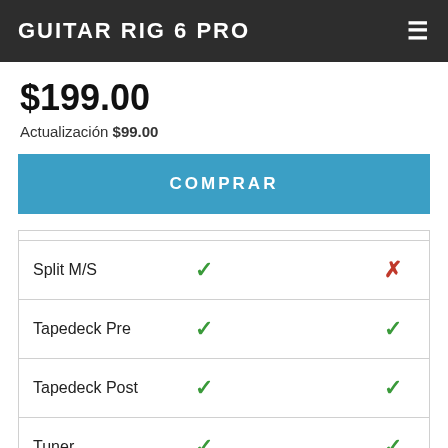GUITAR RIG 6 PRO
$199.00
Actualización $99.00
COMPRAR
| Feature | Check 1 |  | Check 2 |
| --- | --- | --- | --- |
| Split M/S | ✓ |  | ✗ |
| Tapedeck Pre | ✓ |  | ✓ |
| Tapedeck Post | ✓ |  | ✓ |
| Tuner | ✓ |  | ✓ |